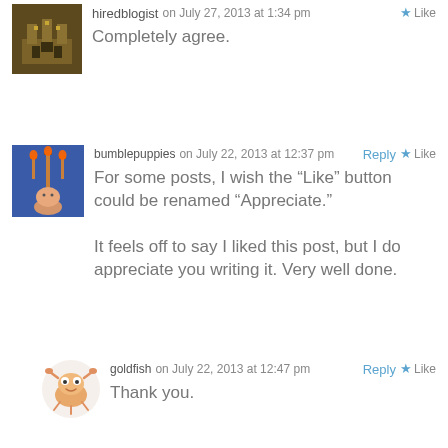[Figure (screenshot): Blog comment section showing three user comments with avatars]
hiredblogist on July 27, 2013 at 1:34 pm — Completely agree.
bumblepuppies on July 22, 2013 at 12:37 pm — For some posts, I wish the “Like” button could be renamed “Appreciate.” It feels off to say I liked this post, but I do appreciate you writing it. Very well done.
goldfish on July 22, 2013 at 12:47 pm — Thank you.